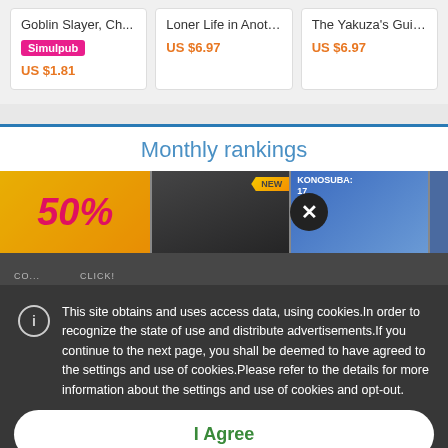[Figure (screenshot): Three product cards showing manga titles: 'Goblin Slayer, Ch...' with Simulpub badge and price US $1.81, 'Loner Life in Anoth...' with price US $6.97, 'The Yakuza's Guid...' with price US $6.97]
[Figure (screenshot): Monthly rankings section header with book thumbnail images below showing a 50% sale banner, a new release cover with NEW badge, and a Konosuba volume 17 cover]
This site obtains and uses access data, using cookies.In order to recognize the state of use and distribute advertisements.If you continue to the next page, you shall be deemed to have agreed to the settings and use of cookies.Please refer to the details for more information about the settings and use of cookies and opt-out.
I Agree
View our Cookie Policy
View our Privacy Policy